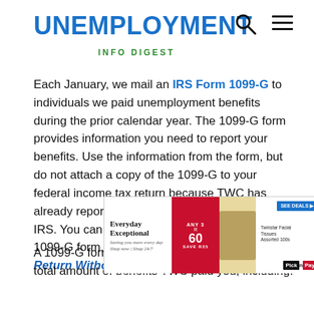UNEMPLOYMENT INFO DIGEST
Each January, we mail an IRS Form 1099-G to individuals we paid unemployment benefits during the prior calendar year. The 1099-G form provides information you need to report your benefits. Use the information from the form, but do not attach a copy of the 1099-G to your federal income tax return because TWC has already reported the 1099-G information to the IRS. You can file your federal tax return without a 1099-G form, as explained below in Filing Your Return Without Your 1099-G.
A 1099-G form is a federal tax form that lists the total amount of benefits TWC paid you, including:
[Figure (other): Advertisement banner for Pick n Pay: Everyday Exceptional, Any 3 R60 Save R35, Twinstar Facial Tissues Assorted 100s, See Deals button, Pick n Pay logo]